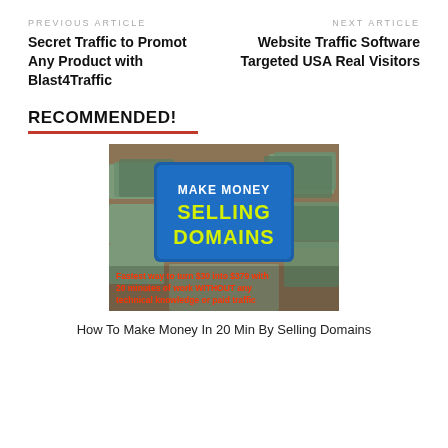PREVIOUS ARTICLE
Secret Traffic to Promot Any Product with Blast4Traffic
NEXT ARTICLE
Website Traffic Software Targeted USA Real Visitors
RECOMMENDED!
[Figure (photo): Promotional image showing stacks of $100 bills with a blue sign reading 'MAKE MONEY SELLING DOMAINS' and red text overlay: 'Fastest way to turn $30 into $379 with 20 minutes of work WITHOUT any technical knowledge or paid traffic']
How To Make Money In 20 Min By Selling Domains